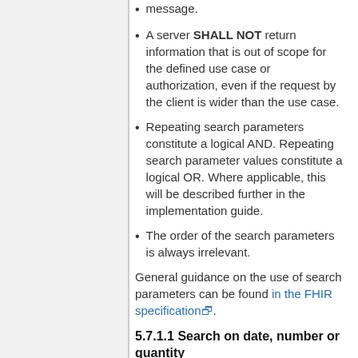message.
A server SHALL NOT return information that is out of scope for the defined use case or authorization, even if the request by the client is wider than the use case.
Repeating search parameters constitute a logical AND. Repeating search parameter values constitute a logical OR. Where applicable, this will be described further in the implementation guide.
The order of the search parameters is always irrelevant.
General guidance on the use of search parameters can be found in the FHIR specification.
5.7.1.1 Search on date, number or quantity